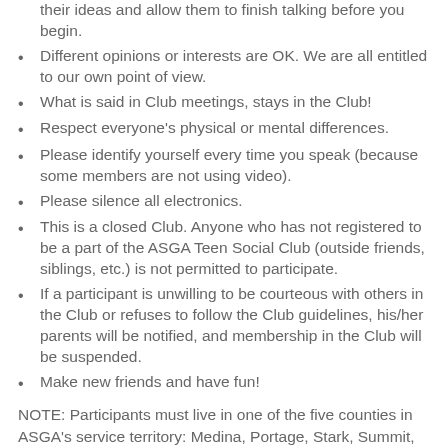Respect the other members in the group. Listen to their ideas and allow them to finish talking before you begin.
Different opinions or interests are OK. We are all entitled to our own point of view.
What is said in Club meetings, stays in the Club!
Respect everyone's physical or mental differences.
Please identify yourself every time you speak (because some members are not using video).
Please silence all electronics.
This is a closed Club. Anyone who has not registered to be a part of the ASGA Teen Social Club (outside friends, siblings, etc.) is not permitted to participate.
If a participant is unwilling to be courteous with others in the Club or refuses to follow the Club guidelines, his/her parents will be notified, and membership in the Club will be suspended.
Make new friends and have fun!
NOTE: Participants must live in one of the five counties in ASGA's service territory: Medina, Portage, Stark, Summit, or Wayne.